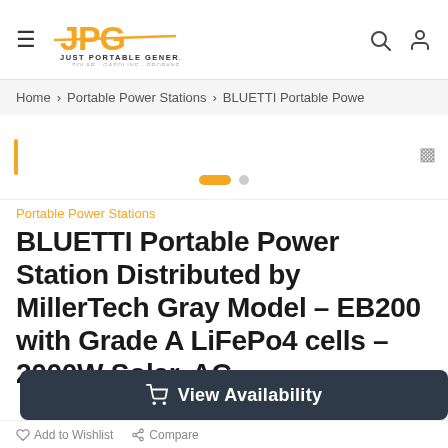JPG Just Portable Generators
Home > Portable Power Stations > BLUETTI Portable Powe
[Figure (screenshot): Product image slider area with orange vertical flag indicator on left and navigation dots (one orange pill, one gray circle) at bottom center. A right arrow icon appears on the right side.]
Portable Power Stations
BLUETTI Portable Power Station Distributed by MillerTech Gray Model – EB200 with Grade A LiFePo4 cells – 2000W Solar, AC...
View Availability
Add to Wishlist   Compare